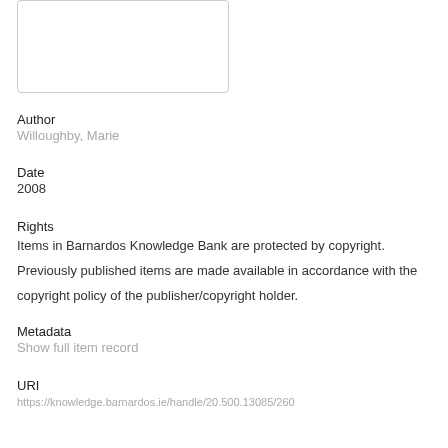[Figure (other): Document thumbnail image box with border]
Author
Willoughby, Marie
Date
2008
Rights
Items in Barnardos Knowledge Bank are protected by copyright. Previously published items are made available in accordance with the copyright policy of the publisher/copyright holder.
Metadata
Show full item record
URI
https://knowledge.barnardos.ie/handle/20.500.13085/260